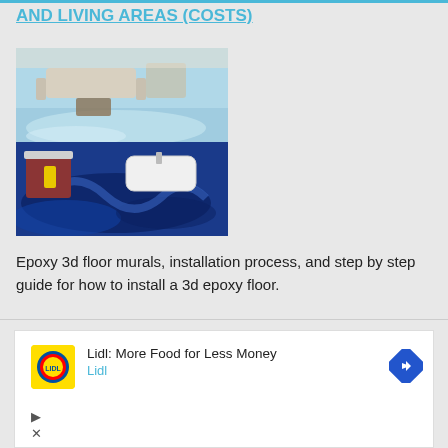AND LIVING AREAS (COSTS)
[Figure (photo): Two-panel photo showing epoxy 3D floor murals: top panel shows a living room with ocean beach-themed 3D epoxy floor with sofa and furniture; bottom panel shows a bathroom with deep blue ocean wave 3D epoxy floor with bathtub and vanity.]
Epoxy 3d floor murals, installation process, and step by step guide for how to install a 3d epoxy floor.
READ MORE
[Figure (other): Lidl advertisement banner: Lidl logo (yellow square with blue text), text 'Lidl: More Food for Less Money', 'Lidl', blue diamond arrow icon, play and close controls.]